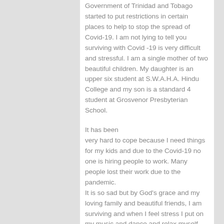Government of Trinidad and Tobago started to put restrictions in certain places to help to stop the spread of Covid-19. I am not lying to tell you surviving with Covid -19 is very difficult and stressful. I am a single mother of two beautiful children. My daughter is an upper six student at S.W.A.H.A. Hindu College and my son is a standard 4 student at Grosvenor Presbyterian School.
It has been very hard to cope because I need things for my kids and due to the Covid-19 no one is hiring people to work. Many people lost their work due to the pandemic. It is so sad but by God's grace and my loving family and beautiful friends, I am surviving and when I feel stress I put on my music and dance and relax myself.
Our country was in lockdown for about three months. We